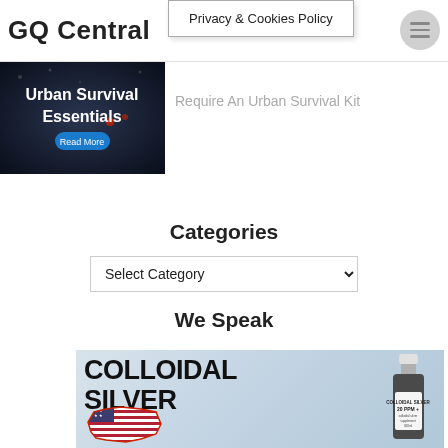GQ Central
Privacy & Cookies Policy
[Figure (photo): Urban Survival Essentials banner image with dark background and 'Read More' button]
Require An Urban Survival Kit
Categories
Select Category
We Speak
[Figure (photo): Colloidal Silver advertisement showing bold text 'COLLOIDAL SILVER', a USA flag map outline, and a dark bottle labeled 'COLLOIDAL SILVER 20 PPM +']